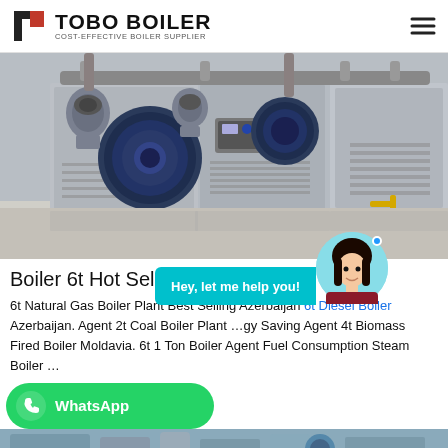TOBO BOILER — COST-EFFECTIVE BOILER SUPPLIER
[Figure (photo): Industrial gas boilers in a factory/plant setting — multiple large rectangular boiler units with blue burner assemblies and circular combustion heads, arranged in a row on white flooring]
Boiler 6t Hot Sel... G...
6t Natural Gas Boiler Plant Best Selling Azerbaijan 6t Diesel Boiler Azerbaijan. Agent 2t Coal Boiler Plant ...gy Saving Agent 4t Biomass Fired Boiler Moldavia. 6t 1 Ton Boiler Agent Fuel Consumption Steam Boiler ...
[Figure (screenshot): Chat support bubble: cyan/teal bubble with text 'Hey, let me help you!' and avatar photo of a young woman]